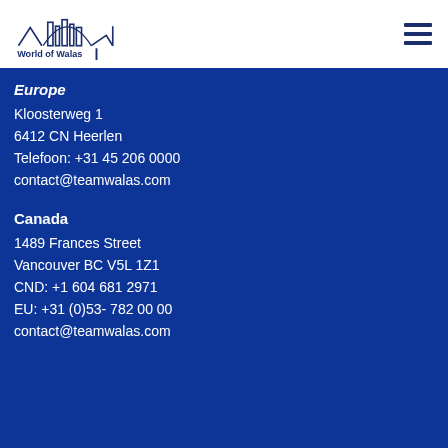[Figure (logo): World of Walas logo with city skyline silhouette and text 'World of Walas']
Europe
Kloosterweg 1
6412 CN Heerlen
Telefoon: +31 45 206 0000
contact@teamwalas.com
Canada
1489 Frances Street
Vancouver BC V5L 1Z1
CND: +1 604 681 2971
EU: +31 (0)53- 782 00 00
contact@teamwalas.com